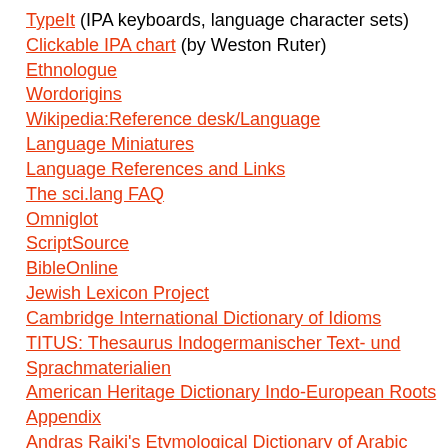TypeIt (IPA keyboards, language character sets)
Clickable IPA chart (by Weston Ruter)
Ethnologue
Wordorigins
Wikipedia:Reference desk/Language
Language Miniatures
Language References and Links
The sci.lang FAQ
Omniglot
ScriptSource
BibleOnline
Jewish Lexicon Project
Cambridge International Dictionary of Idioms
TITUS: Thesaurus Indogermanischer Text- und Sprachmaterialien
American Heritage Dictionary Indo-European Roots Appendix
Andras Rajki's Etymological Dictionary of Arabic
Germanic Lexicon Project
Dictionary of the Scots Language
Das Deutsche Wörterbuch von Jacob und Wilhelm Grimm
Wortschatz Deutsch